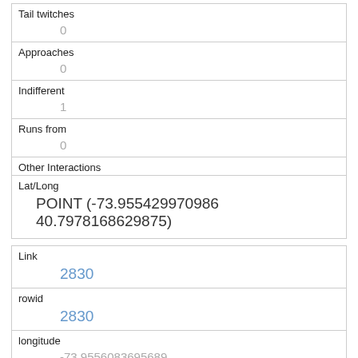| Tail twitches | 0 |
| Approaches | 0 |
| Indifferent | 1 |
| Runs from | 0 |
| Other Interactions |  |
| Lat/Long | POINT (-73.955429970986 40.7978168629875) |
| Link | 2830 |
| rowid | 2830 |
| longitude | -73.9556083695689 |
| latitude | 40.7065222799492 |